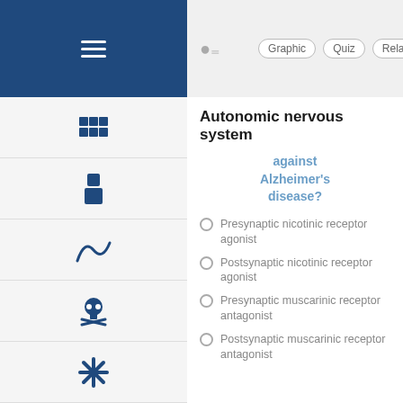Autonomic nervous system — Quiz interface with Graphic, Quiz, Related navigation buttons
Autonomic nervous system
against Alzheimer's disease?
Presynaptic nicotinic receptor agonist
Postsynaptic nicotinic receptor agonist
Presynaptic muscarinic receptor antagonist
Postsynaptic muscarinic receptor antagonist